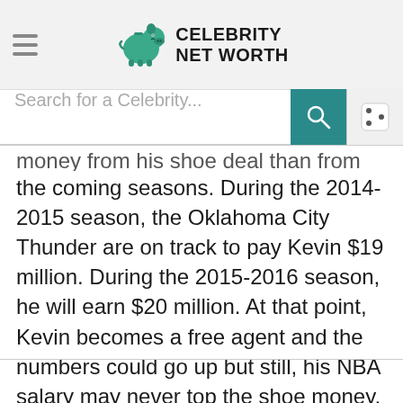Celebrity Net Worth
money from his shoe deal than from his NBA salary in the coming seasons. During the 2014-2015 season, the Oklahoma City Thunder are on track to pay Kevin $19 million. During the 2015-2016 season, he will earn $20 million. At that point, Kevin becomes a free agent and the numbers could go up but still, his NBA salary may never top the shoe money.